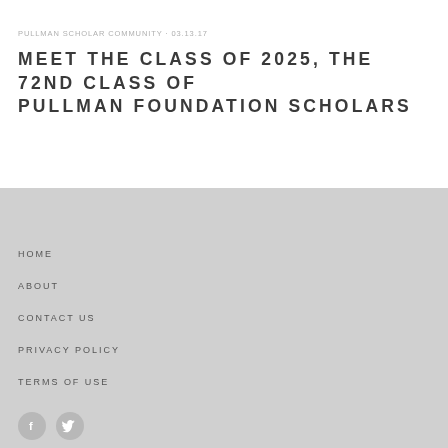PULLMAN SCHOLAR COMMUNITY · 03.13.17
MEET THE CLASS OF 2025, THE 72ND CLASS OF PULLMAN FOUNDATION SCHOLARS
HOME
ABOUT
CONTACT US
PRIVACY POLICY
TERMS OF USE
[Figure (illustration): Facebook and Twitter social media icons in circular grey buttons at bottom left]